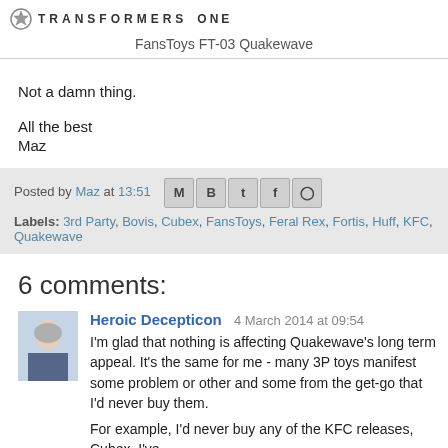TRANSFORMERS ONE — FansToys FT-03 Quakewave
Not a damn thing.
All the best
Maz
Posted by Maz at 13:51   Labels: 3rd Party, Bovis, Cubex, FansToys, Feral Rex, Fortis, Huff, KFC, Micro Ro... Quakewave
6 comments:
Heroic Decepticon  4 March 2014 at 09:54
I'm glad that nothing is affecting Quakewave's long term appeal. It's the same for me - many 3P toys manifest some problem or other and some from the get-go that I'd never buy them.

For example, I'd never buy any of the KFC releases, Cubex. I've...